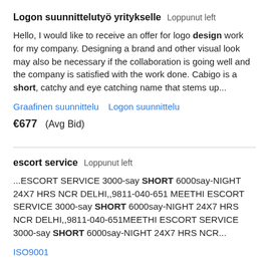Logon suunnittelutyö yritykselle   Loppunut left
Hello, I would like to receive an offer for logo design work for my company. Designing a brand and other visual look may also be necessary if the collaboration is going well and the company is satisfied with the work done. Cabigo is a short, catchy and eye catching name that stems up...
Graafinen suunnittelu   Logon suunnittelu
€677   (Avg Bid)
escort service   Loppunut left
...ESCORT SERVICE 3000-say SHORT 6000say-NIGHT 24X7 HRS NCR DELHI,,9811-040-651 MEETHI ESCORT SERVICE 3000-say SHORT 6000say-NIGHT 24X7 HRS NCR DELHI,,9811-040-651MEETHI ESCORT SERVICE 3000-say SHORT 6000say-NIGHT 24X7 HRS NCR...
ISO9001